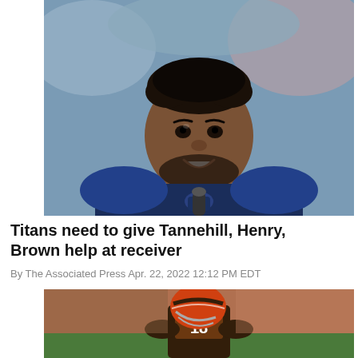[Figure (photo): NFL player in navy blue Tennessee Titans jersey smiling, with microphone in front, photographed from chest up against blurred stadium background]
Titans need to give Tannehill, Henry, Brown help at receiver
By The Associated Press Apr. 22, 2022 12:12 PM EDT
[Figure (photo): NFL player wearing Cleveland Browns uniform number 18 with brown and orange helmet, photographed from waist up on field]